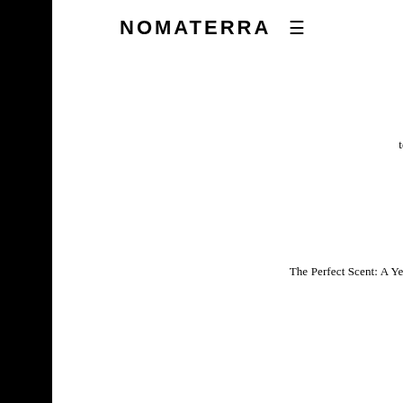NOMATERRA ≡
tabula rasa
tash moore
taxi
taxis
temple tree hotel
tennessee
thanksgiving
The Alchemist
the dead sea
the multiple
the new yorker
The Perfect Scent: A Year Inside the Perfume Industry in Paris and New York
the points guy
the south
The Standard
Tidal Basin
tobacco
tobacco leaf
topography
Toshi
trade show
Trafalgar Square
travel
travel adventures
Travel and Tourism